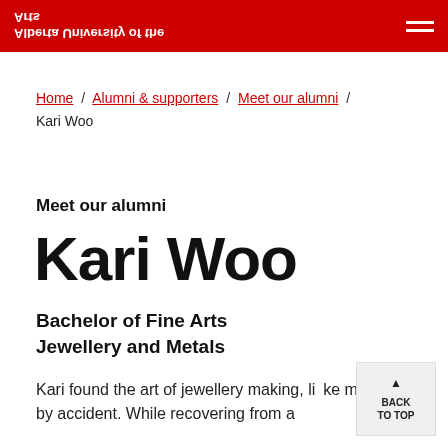Alberta University of the Arts
Home / Alumni & supporters / Meet our alumni / Kari Woo
Meet our alumni
Kari Woo
Bachelor of Fine Arts    Jewellery and Metals
Kari found the art of jewellery making, like many, by accident. While recovering from a